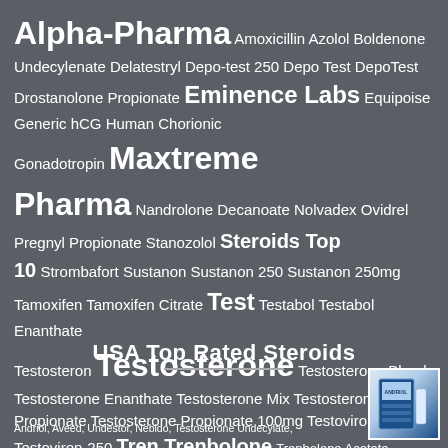[Figure (infographic): Word cloud of steroid and pharmaceutical brand names on dark grey background, with varying font sizes indicating frequency/importance. Words include Alpha-Pharma, Testosterone, Eminence Labs, Maxtreme Pharma, Test, Trenbolone, etc.]
USA Top Rated Steroids
Andriol, Aveed, Undestor, Nebido, Testosterone Undecylate,